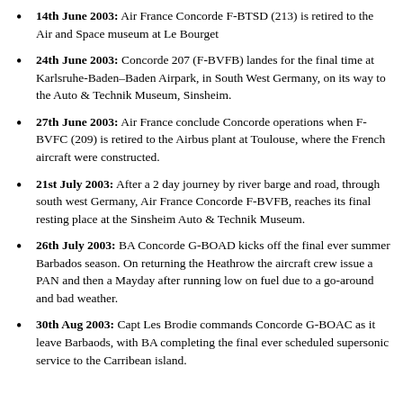14th June 2003: Air France Concorde F-BTSD (213) is retired to the Air and Space museum at Le Bourget
24th June 2003: Concorde 207 (F-BVFB) landes for the final time at Karlsruhe-Baden–Baden Airpark, in South West Germany, on its way to the Auto & Technik Museum, Sinsheim.
27th June 2003: Air France conclude Concorde operations when F-BVFC (209) is retired to the Airbus plant at Toulouse, where the French aircraft were constructed.
21st July 2003: After a 2 day journey by river barge and road, through south west Germany, Air France Concorde F-BVFB, reaches its final resting place at the Sinsheim Auto & Technik Museum.
26th July 2003: BA Concorde G-BOAD kicks off the final ever summer Barbados season. On returning the Heathrow the aircraft crew issue a PAN and then a Mayday after running low on fuel due to a go-around and bad weather.
30th Aug 2003: Capt Les Brodie commands Concorde G-BOAC as it leave Barbaods, with BA completing the final ever scheduled supersonic service to the Carribean island.